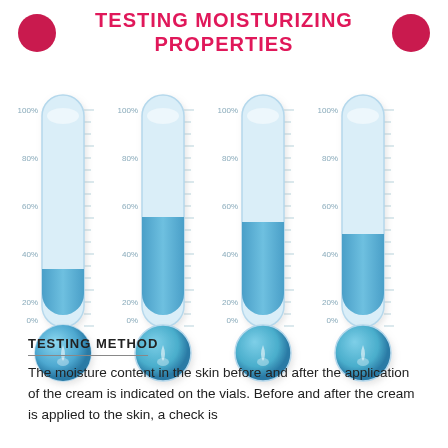TESTING MOISTURIZING PROPERTIES
[Figure (infographic): Four thermometer-style vials showing moisture levels at approximately 25%, 47%, 45%, and 40% respectively. Each vial has a scale from 0% to 100% with tick marks at 20% intervals (0%, 20%, 40%, 60%, 80%, 100%). The vials are blue gradient with a water droplet at the base.]
TESTING METHOD
The moisture content in the skin before and after the application of the cream is indicated on the vials. Before and after the cream is applied to the skin, a check is